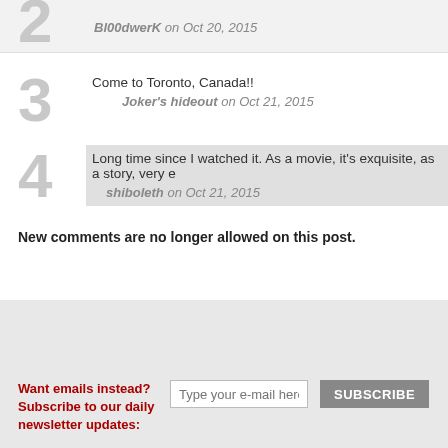2 — Bl00dwerK on Oct 20, 2015
3 — Come to Toronto, Canada!! — Joker's hideout on Oct 21, 2015
4 — Long time since I watched it. As a movie, it's exquisite, as a story, very e — shiboleth on Oct 21, 2015
New comments are no longer allowed on this post.
Want emails instead? Subscribe to our daily newsletter updates: